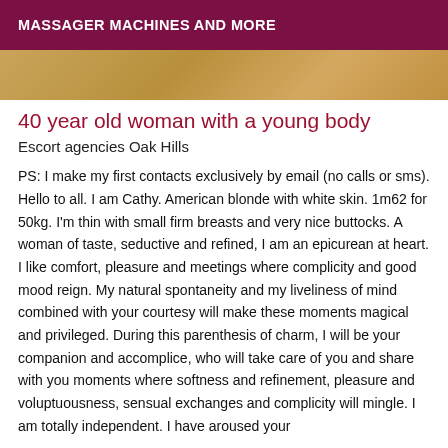MASSAGER MACHINES AND MORE
[Figure (photo): Partial view of a person's skin, warm golden-brown tones, cropped image strip at top of content area]
40 year old woman with a young body
Escort agencies Oak Hills
PS: I make my first contacts exclusively by email (no calls or sms). Hello to all. I am Cathy. American blonde with white skin. 1m62 for 50kg. I'm thin with small firm breasts and very nice buttocks. A woman of taste, seductive and refined, I am an epicurean at heart. I like comfort, pleasure and meetings where complicity and good mood reign. My natural spontaneity and my liveliness of mind combined with your courtesy will make these moments magical and privileged. During this parenthesis of charm, I will be your companion and accomplice, who will take care of you and share with you moments where softness and refinement, pleasure and voluptuousness, sensual exchanges and complicity will mingle. I am totally independent. I have aroused your